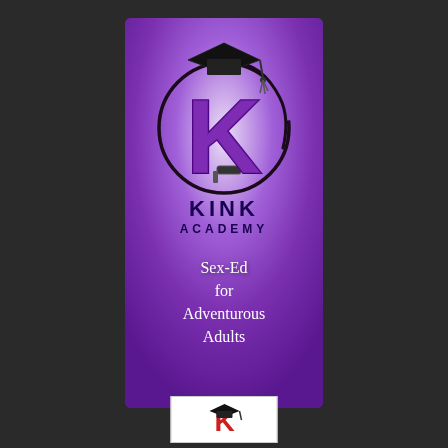[Figure (logo): Kink Academy logo: purple gradient banner with large K letter wearing graduation cap, whip forming circle, text 'KINK ACADEMY' and tagline 'Sex-Ed for Adventurous Adults' in white cursive]
[Figure (logo): Small secondary logo at bottom: graduation cap over red K letter on white background]